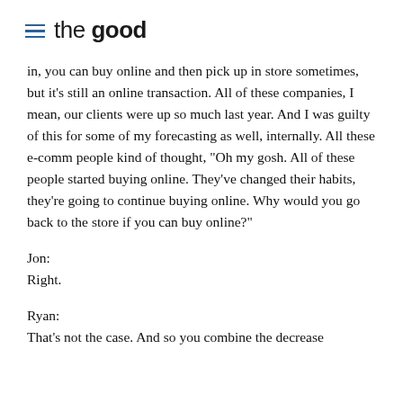the good
in, you can buy online and then pick up in store sometimes, but it’s still an online transaction. All of these companies, I mean, our clients were up so much last year. And I was guilty of this for some of my forecasting as well, internally. All these e-comm people kind of thought, “Oh my gosh. All of these people started buying online. They’ve changed their habits, they’re going to continue buying online. Why would you go back to the store if you can buy online?”
Jon:
Right.
Ryan:
That’s not the case. And so you combine the decrease